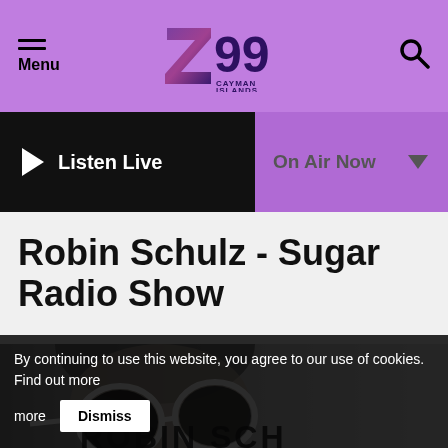Menu | Z99 Cayman Islands | Search
Listen Live | On Air Now
Robin Schulz - Sugar Radio Show
[Figure (photo): Black and white photo of Robin Schulz wearing large round white sunglasses, with text ROBIN SCHULZ partially visible at the bottom]
By continuing to use this website, you agree to our use of cookies. Find out more Dismiss